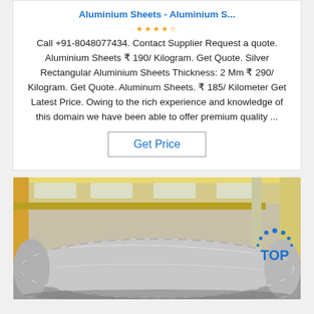Aluminium Sheets - Aluminium S...
Call +91-8048077434. Contact Supplier Request a quote. Aluminium Sheets ₹ 190/ Kilogram. Get Quote. Silver Rectangular Aluminium Sheets Thickness: 2 Mm ₹ 290/ Kilogram. Get Quote. Aluminum Sheets. ₹ 185/ Kilometer Get Latest Price. Owing to the rich experience and knowledge of this domain we have been able to offer premium quality ...
[Figure (other): Button labeled 'Get Price' with a rectangular border]
[Figure (photo): Industrial factory scene showing a large roll of aluminium sheet wrapped in plastic film, with yellow overhead cranes and warehouse structure visible in background. A circular TOP badge logo appears in the lower right.]